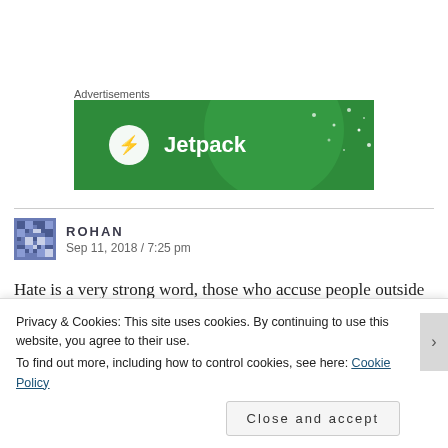Advertisements
[Figure (illustration): Jetpack plugin advertisement banner with green background and Jetpack logo]
ROHAN
Sep 11, 2018 / 7:25 pm
Hate is a very strong word, those who accuse people outside cricket of ‘hating Cook’ have often created this narrative
Privacy & Cookies: This site uses cookies. By continuing to use this website, you agree to their use.
To find out more, including how to control cookies, see here: Cookie Policy
Close and accept